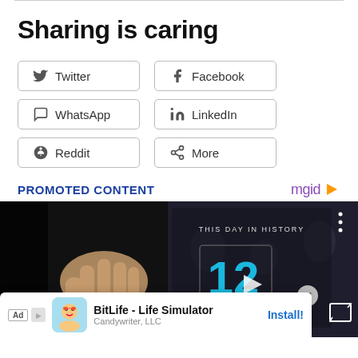Sharing is caring
[Figure (infographic): Social share buttons: Twitter, Facebook, WhatsApp, LinkedIn, Reddit, More]
PROMOTED CONTENT
[Figure (screenshot): Promoted content area showing 'This Day In History' video thumbnail with number 12 in blue, an ad for BitLife - Life Simulator by Candywriter LLC with Install button]